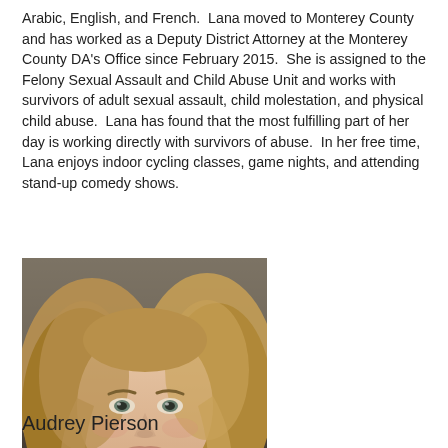Arabic, English, and French.  Lana moved to Monterey County and has worked as a Deputy District Attorney at the Monterey County DA's Office since February 2015.  She is assigned to the Felony Sexual Assault and Child Abuse Unit and works with survivors of adult sexual assault, child molestation, and physical child abuse.  Lana has found that the most fulfilling part of her day is working directly with survivors of abuse.  In her free time, Lana enjoys indoor cycling classes, game nights, and attending stand-up comedy shows.
[Figure (photo): Black and white professional headshot photo of a woman with shoulder-length blonde/light brown hair, smiling, wearing a white shirt and dark jacket.]
Audrey Pierson